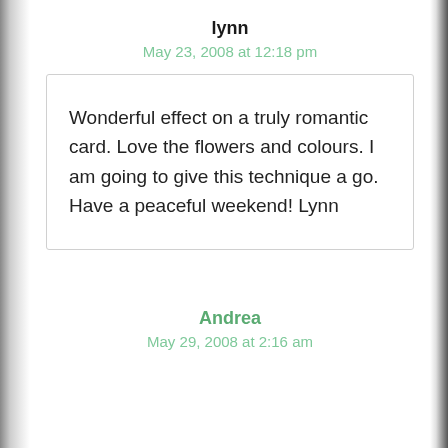lynn
May 23, 2008 at 12:18 pm
Wonderful effect on a truly romantic card. Love the flowers and colours. I am going to give this technique a go. Have a peaceful weekend! Lynn
Andrea
May 29, 2008 at 2:16 am